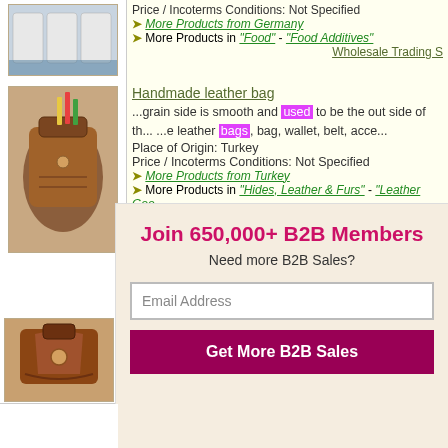Price / Incoterms Conditions: Not Specified
➤ More Products from Germany
➤ More Products in "Food" - "Food Additives"
Wholesale Trading S
Handmade leather bag
...grain side is smooth and used to be the out side of th... ...e leather bags, bag, wallet, belt, acce...
Place of Origin: Turkey
Price / Incoterms Conditions: Not Specified
➤ More Products from Turkey
➤ More Products in "Hides, Leather & Furs" - "Leather Goo
Real leather and handicraft
...grain side is smooth and used to be the outside of the...
Join 650,000+ B2B Members
Need more B2B Sales?
Email Address
Get More B2B Sales